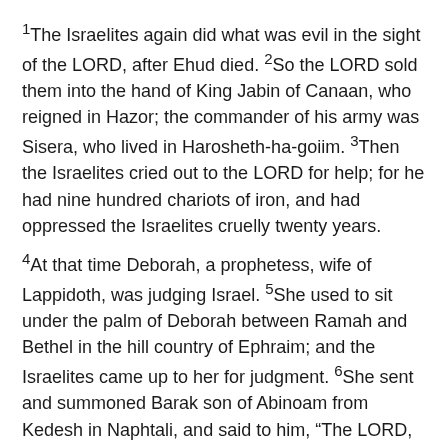1The Israelites again did what was evil in the sight of the LORD, after Ehud died. 2So the LORD sold them into the hand of King Jabin of Canaan, who reigned in Hazor; the commander of his army was Sisera, who lived in Harosheth-ha-goiim. 3Then the Israelites cried out to the LORD for help; for he had nine hundred chariots of iron, and had oppressed the Israelites cruelly twenty years.
4At that time Deborah, a prophetess, wife of Lappidoth, was judging Israel. 5She used to sit under the palm of Deborah between Ramah and Bethel in the hill country of Ephraim; and the Israelites came up to her for judgment. 6She sent and summoned Barak son of Abinoam from Kedesh in Naphtali, and said to him, “The LORD, the God of Israel, commands you, ‘Go, take position at Mount Tabor, bringing ten thousand from the tribe of Naphtali and the tribe of Zebulun. 7I will draw out Sisera, the general of Jabin’s army, to meet you by the Wadi Kishon with his chariots and his troops; and I will give him into your hand.’”